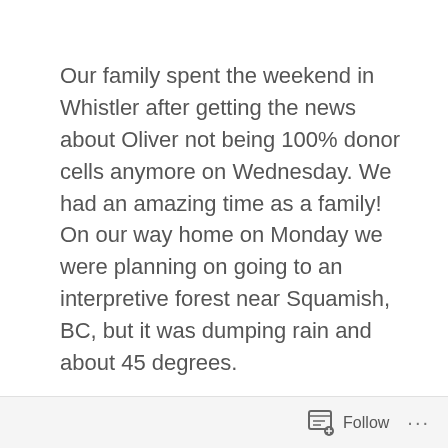Our family spent the weekend in Whistler after getting the news about Oliver not being 100% donor cells anymore on Wednesday. We had an amazing time as a family! On our way home on Monday we were planning on going to an interpretive forest near Squamish, BC, but it was dumping rain and about 45 degrees.
Instead we last-minute decided to go to Lynn Canyon Park in North Vancouver! We had never been to Capilano Suspension Bridge or Lynn Canyon, but Lynn Canyon is free and Capilano Suspension Bridge is $54 Canadian
Follow